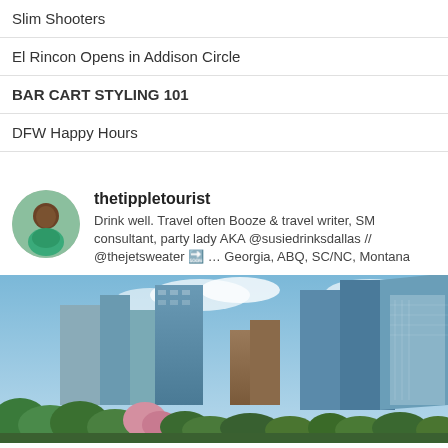Slim Shooters
El Rincon Opens in Addison Circle
BAR CART STYLING 101
DFW Happy Hours
thetippletourist
Drink well. Travel often Booze & travel writer, SM consultant, party lady AKA @susiedrinksdallas // @thejetsweater 🔜 … Georgia, ABQ, SC/NC, Montana
[Figure (photo): Cityscape photo of a downtown skyline with tall glass skyscrapers against a blue sky with clouds, green trees and flowering plants in the foreground.]